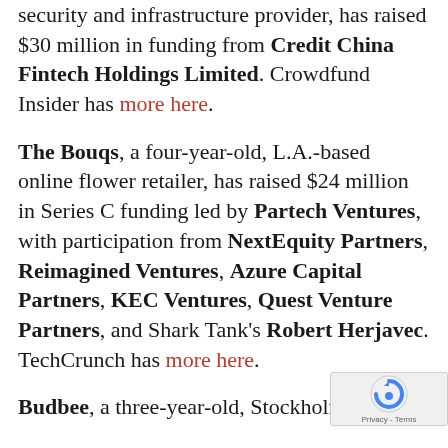security and infrastructure provider, has raised $30 million in funding from Credit China Fintech Holdings Limited. Crowdfund Insider has more here.
The Bouqs, a four-year-old, L.A.-based online flower retailer, has raised $24 million in Series C funding led by Partech Ventures, with participation from NextEquity Partners, Reimagined Ventures, Azure Capital Partners, KEC Ventures, Quest Venture Partners, and Shark Tank's Robert Herjavec. TechCrunch has more here.
Budbee, a three-year-old, Stockholm,